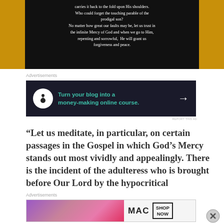[Figure (photo): Dark background image with white text overlay about God's Mercy and the prodigal son parable]
carries it back to the fold upon His shoulders. Who could forget the touching parable of the prodigal son? No matter how great our faults may be, let us trust in the infinite Mercy of God and when we go to Him, repenting and sorrowful, He will grant us forgiveness and peace.
Advertisements
[Figure (screenshot): Advertisement banner: Turn your blog into a money-making online course. Dark background with teal text and arrow.]
REPORT THIS AD
“Let us meditate, in particular, on certain passages in the Gospel in which God’s Mercy stands out most vividly and appealingly. There is the incident of the adulteress who is brought before Our Lord by the hypocritical
Advertisements
[Figure (screenshot): MAC cosmetics advertisement with lipsticks and SHOP NOW button]